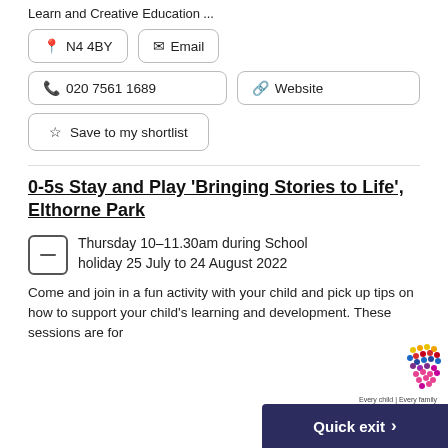Learn and Creative Education …
N4 4BY
Email
020 7561 1689
Website
Save to my shortlist
0-5s Stay and Play 'Bringing Stories to Life', Elthorne Park
Thursday 10-11.30am during School holiday 25 July to 24 August 2022
Come and join in a fun activity with your child and pick up tips on how to support your child's learning and development. These sessions are for
Quick exit >